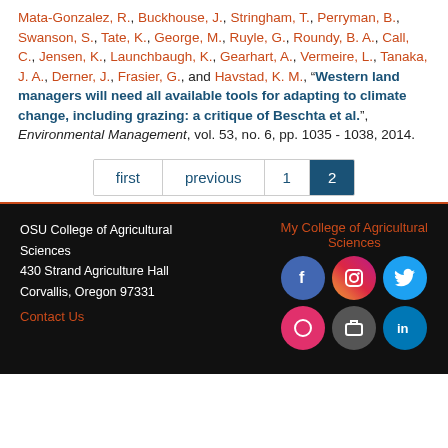Mata-Gonzalez, R., Buckhouse, J., Stringham, T., Perryman, B., Swanson, S., Tate, K., George, M., Ruyle, G., Roundy, B. A., Call, C., Jensen, K., Launchbaugh, K., Gearhart, A., Vermeire, L., Tanaka, J. A., Derner, J., Frasier, G., and Havstad, K. M., "Western land managers will need all available tools for adapting to climate change, including grazing: a critique of Beschta et al.", Environmental Management, vol. 53, no. 6, pp. 1035 - 1038, 2014.
first | previous | 1 | 2
OSU College of Agricultural Sciences
430 Strand Agriculture Hall
Corvallis, Oregon 97331
Contact Us
My College of Agricultural Sciences